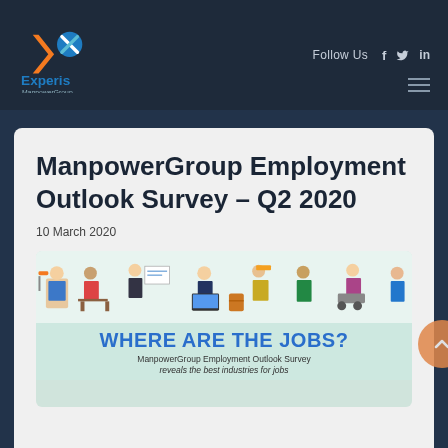[Figure (logo): Experis ManpowerGroup logo with orange arrow and blue/teal X mark]
Follow Us  f  tw  in
ManpowerGroup Employment Outlook Survey – Q2 2020
10 March 2020
[Figure (infographic): Infographic showing workers from various industries above text 'WHERE ARE THE JOBS? ManpowerGroup Employment Outlook Survey reveals the best industries for jobs']